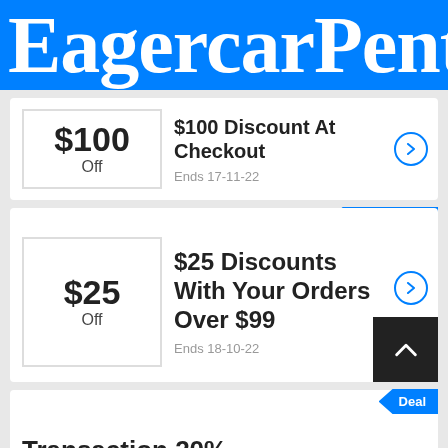EagercarPent
$100 Off
$100 Discount At Checkout
Ends 17-11-22
Promo Code
$25 Off
$25 Discounts With Your Orders Over $99
Ends 18-10-22
Deal
Transaction 20%